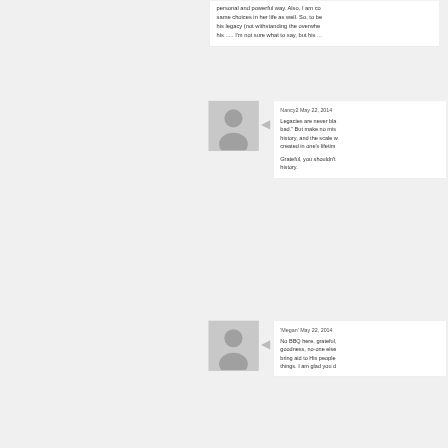personal and powerful way. Also, I am c... same choices in her life as well. So, to b... his legacy (not withstanding the overwhe... his ..... I'm not sure what to say, but his ...
Nancy2 May 22, 2014
Legacies are never bla... bad." But make no mis... history, and the scale w... created in one's lifetim...

Grateful, you shouldn't... history.
'Megan' May 22, 2014
No BBQ here, grateful,... goodness, no-one else... bring aid to His people... things. I am glad you d...